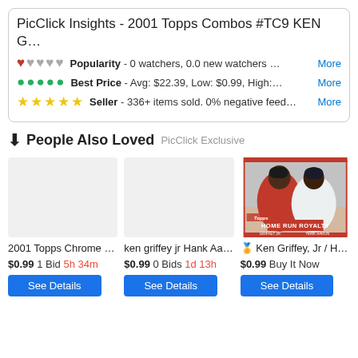PicClick Insights - 2001 Topps Combos #TC9 KEN G…
❤♥♥♥♥ Popularity - 0 watchers, 0.0 new watchers … More
⬤⬤⬤⬤⬤ Best Price - Avg: $22.39, Low: $0.99, High:… More
★★★★★ Seller - 336+ items sold. 0% negative feed… More
↓ People Also Loved PicClick Exclusive
[Figure (photo): Blank placeholder for 2001 Topps Chrome baseball card listing]
2001 Topps Chrome …
$0.99 1 Bid 5h 34m
See Details
[Figure (photo): Blank placeholder for ken griffey jr Hank Aa… baseball card listing]
ken griffey jr Hank Aa…
$0.99 0 Bids 1d 13h
See Details
[Figure (photo): Topps Home Run Royalty baseball card showing Ken Griffey Jr and Hank Aaron]
🏅 Ken Griffey, Jr / H…
$0.99 Buy It Now
See Details